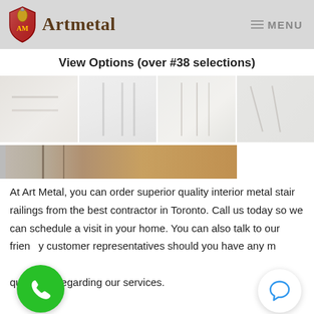Artmetal   MENU
View Options (over #38 selections)
[Figure (photo): Four faded interior metal stair railing photos side by side]
[Figure (photo): Partial banner image showing wood floor and metal railing detail]
At Art Metal, you can order superior quality interior metal stair railings from the best contractor in Toronto. Call us today so we can schedule a visit in your home. You can also talk to our friendly customer representatives should you have any more questions regarding our services.